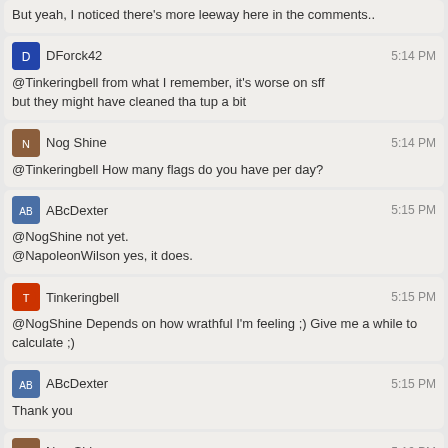But yeah, I noticed there's more leeway here in the comments..
DForck42 5:14 PM
@Tinkeringbell from what I remember, it's worse on sff
but they might have cleaned tha tup a bit
Nog Shine 5:14 PM
@Tinkeringbell How many flags do you have per day?
ABcDexter 5:15 PM
@NogShine not yet.
@NapoleonWilson yes, it does.
Tinkeringbell 5:15 PM
@NogShine Depends on how wrathful I'm feeling ;) Give me a while to calculate ;)
ABcDexter 5:15 PM
Thank you
Nog Shine 5:16 PM
I have 43 flags here.
@Tinkeringbell I mean how many flags are you able to raise? Maximum is 100.
Tinkeringbell 5:17 PM
Well, I first visited on IPS on July 23rd this year. .... You're really going to interrupt me midcalculation by changing the question? you SURE?
Somewhere in the low sixties I think